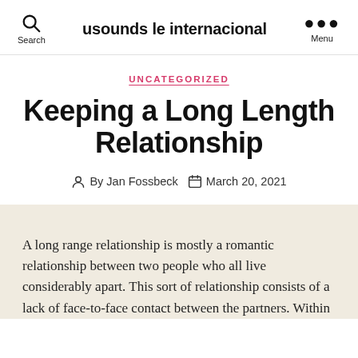usounds le internacional
UNCATEGORIZED
Keeping a Long Length Relationship
By Jan Fossbeck   March 20, 2021
A long range relationship is mostly a romantic relationship between two people who all live considerably apart. This sort of relationship consists of a lack of face-to-face contact between the partners. Within